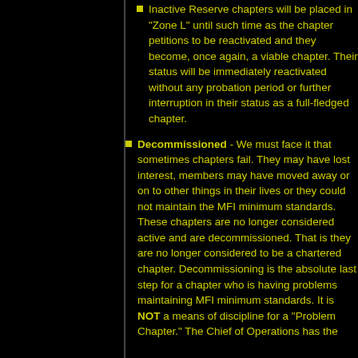Inactive Reserve chapters will be placed in "Zone L" until such time as the chapter petitions to be reactivated and they become, once again, a viable chapter. Their status will be immediately reactivated without any probation period or further interruption in their status as a full-fledged chapter.
Decommissioned - We must face it that sometimes chapters fail. They may have lost interest, members may have moved away or on to other things in their lives or they could not maintain the MFI minimum standards. These chapters are no longer considered active and are decommissioned. That is they are no longer considered to be a chartered chapter. Decommissioning is the absolute last step for a chapter who is having problems maintaining MFI minimum standards. It is NOT a means of discipline for a "Problem Chapter." The Chief of Operations has the authority to decommission a chapter.